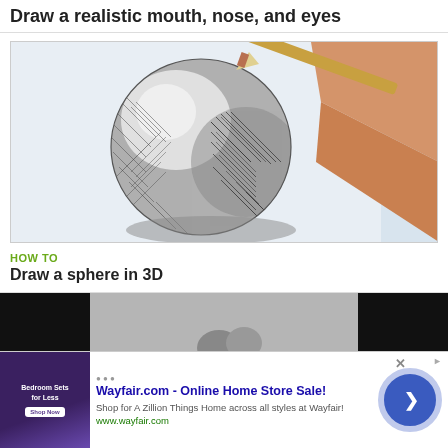Draw a realistic mouth, nose, and eyes
[Figure (photo): A hand holding a pencil drawing cross-hatching shading on a sphere sketch on white paper, 3D sphere drawing tutorial image]
HOW TO
Draw a sphere in 3D
[Figure (screenshot): Partial thumbnail of another drawing tutorial video with black side bars and gray center]
[Figure (screenshot): Wayfair.com advertisement banner: 'Wayfair.com - Online Home Store Sale! Shop for A Zillion Things Home across all styles at Wayfair! www.wayfair.com' with a purple bedroom image thumbnail and a blue arrow button]